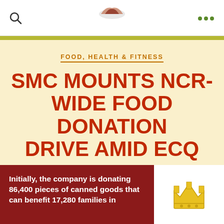SMC news article page header with search icon, logo, and menu dots
FOOD, HEALTH & FITNESS
SMC MOUNTS NCR-WIDE FOOD DONATION DRIVE AMID ECQ
By Cassandra Ching   March 29, 2021
Initially, the company is donating 86,400 pieces of canned goods that can benefit 17,280 families in